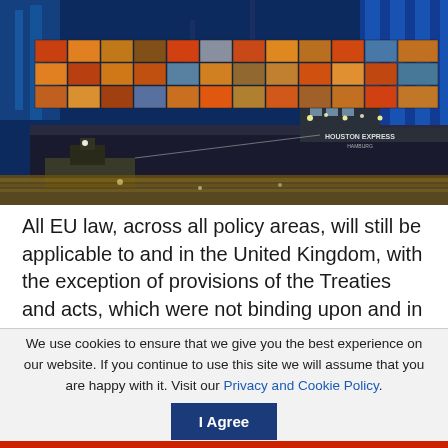[Figure (photo): A large container ship named 'HOUSTON EXPRESS HAMBURG' loaded with colorful shipping containers, photographed at night in a port. A tugboat is visible alongside. Blue port structures and lights illuminate the scene.]
All EU law, across all policy areas, will still be applicable to and in the United Kingdom, with the exception of provisions of the Treaties and acts, which were not binding upon and in the United Kingdom before the entry into force of the Withdrawal Agreement. The same is true for acts amending
We use cookies to ensure that we give you the best experience on our website. If you continue to use this site we will assume that you are happy with it. Visit our Privacy and Cookie Policy.